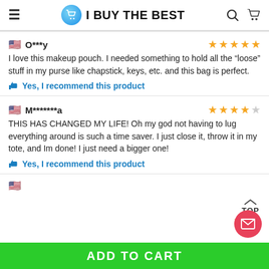I BUY THE BEST
O***y
I love this makeup pouch. I needed something to hold all the “loose” stuff in my purse like chapstick, keys, etc. and this bag is perfect.
Yes, I recommend this product
M*******a
THIS HAS CHANGED MY LIFE! Oh my god not having to lug everything around is such a time saver. I just close it, throw it in my tote, and Im done! I just need a bigger one!
Yes, I recommend this product
ADD TO CART